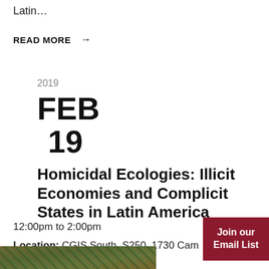Latin…
READ MORE →
2019
FEB
19
Homicidal Ecologies: Illicit Economies and Complicit States in Latin America
12:00pm to 2:00pm
Location: CGIS South, S250, 1730 Cam Street
Join our Email List
[Figure (photo): Partial green/nature photo strip at bottom of page]